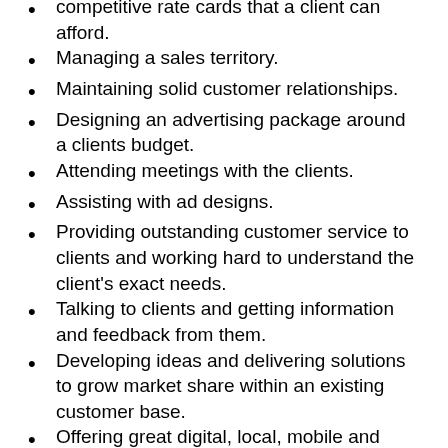competitive rate cards that a client can afford. [partial/cut off at top]
Managing a sales territory.
Maintaining solid customer relationships.
Designing an advertising package around a clients budget.
Attending meetings with the clients.
Assisting with ad designs.
Providing outstanding customer service to clients and working hard to understand the client's exact needs.
Talking to clients and getting information and feedback from them.
Developing ideas and delivering solutions to grow market share within an existing customer base.
Offering great digital, local, mobile and social solutions to clients.
Sending out emails to clients and replying to [cut off at bottom]